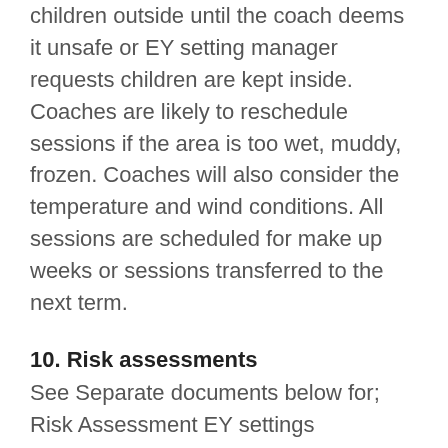children outside until the coach deems it unsafe or EY setting manager requests children are kept inside. Coaches are likely to reschedule sessions if the area is too wet, muddy, frozen. Coaches will also consider the temperature and wind conditions. All sessions are scheduled for make up weeks or sessions transferred to the next term.
10. Risk assessments
See Separate documents below for; Risk Assessment EY settings Risk Assessment Community Sessions in Open Space